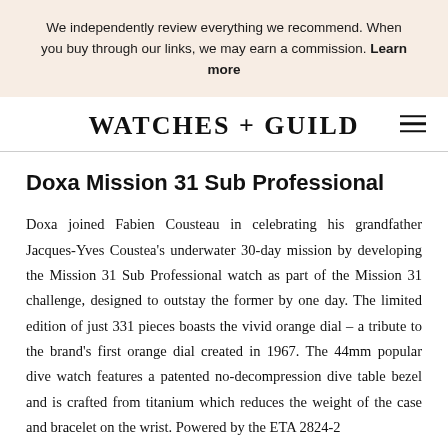We independently review everything we recommend. When you buy through our links, we may earn a commission. Learn more
WATCHES + GUILD
Doxa Mission 31 Sub Professional
Doxa joined Fabien Cousteau in celebrating his grandfather Jacques-Yves Coustea's underwater 30-day mission by developing the Mission 31 Sub Professional watch as part of the Mission 31 challenge, designed to outstay the former by one day. The limited edition of just 331 pieces boasts the vivid orange dial – a tribute to the brand's first orange dial created in 1967. The 44mm popular dive watch features a patented no-decompression dive table bezel and is crafted from titanium which reduces the weight of the case and bracelet on the wrist. Powered by the ETA 2824-2